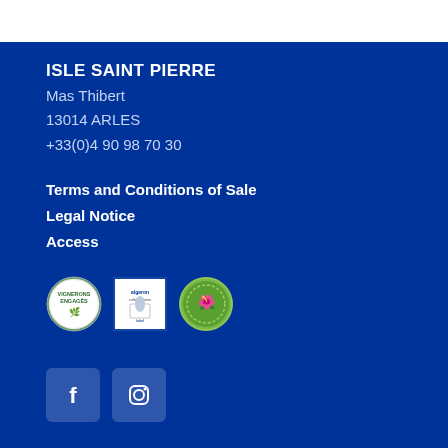ISLE SAINT PIERRE
Mas Thibert
13014 ARLES
+33(0)4 90 98 70 30
Terms and Conditions of Sale
Legal Notice
Access
[Figure (logo): Three certification/label logos: Vignerons Engagés (circular green badge), Algeron (rectangular blue/white badge), and a green circular eco badge]
[Figure (logo): Facebook and Instagram social media icons in white squares on blue background]